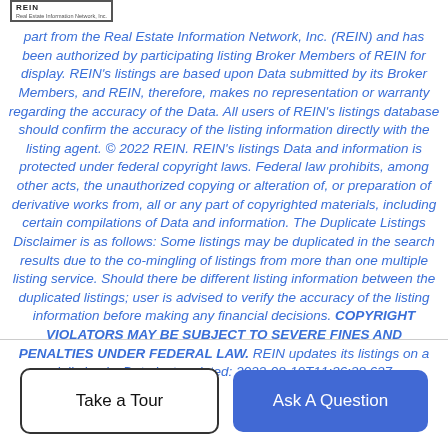[Figure (logo): REIN (Real Estate Information Network, Inc.) logo — red/blue grid icon with text]
part from the Real Estate Information Network, Inc. (REIN) and has been authorized by participating listing Broker Members of REIN for display. REIN's listings are based upon Data submitted by its Broker Members, and REIN, therefore, makes no representation or warranty regarding the accuracy of the Data. All users of REIN's listings database should confirm the accuracy of the listing information directly with the listing agent. © 2022 REIN. REIN's listings Data and information is protected under federal copyright laws. Federal law prohibits, among other acts, the unauthorized copying or alteration of, or preparation of derivative works from, all or any part of copyrighted materials, including certain compilations of Data and information. The Duplicate Listings Disclaimer is as follows: Some listings may be duplicated in the search results due to the co-mingling of listings from more than one multiple listing service. Should there be different listing information between the duplicated listings; user is advised to verify the accuracy of the listing information before making any financial decisions. COPYRIGHT VIOLATORS MAY BE SUBJECT TO SEVERE FINES AND PENALTIES UNDER FEDERAL LAW. REIN updates its listings on a daily basis. Data last updated: 2022-08-19T11:36:38.627.
Take a Tour
Ask A Question